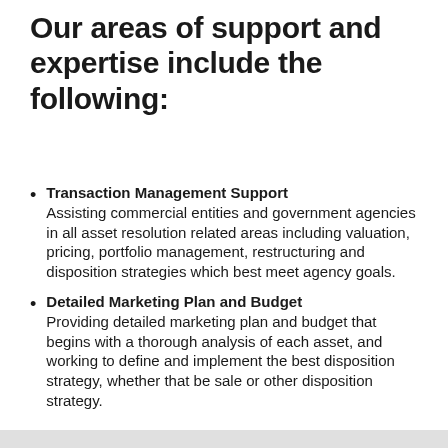Our areas of support and expertise include the following:
Transaction Management Support Assisting commercial entities and government agencies in all asset resolution related areas including valuation, pricing, portfolio management, restructuring and disposition strategies which best meet agency goals.
Detailed Marketing Plan and Budget Providing detailed marketing plan and budget that begins with a thorough analysis of each asset, and working to define and implement the best disposition strategy, whether that be sale or other disposition strategy.